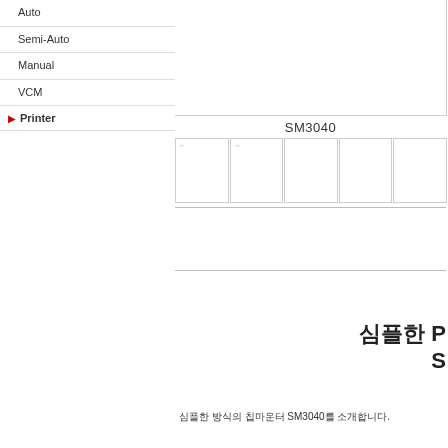Auto
Semi-Auto
Manual
VCM
Printer
SM3040
[Figure (screenshot): Thumbnail image grid showing 5 small boxed thumbnails for SM3040 product with small text labels]
심플한 P SM3040
심플한 방식의 칩마운터 SM3040를 소개합니다.